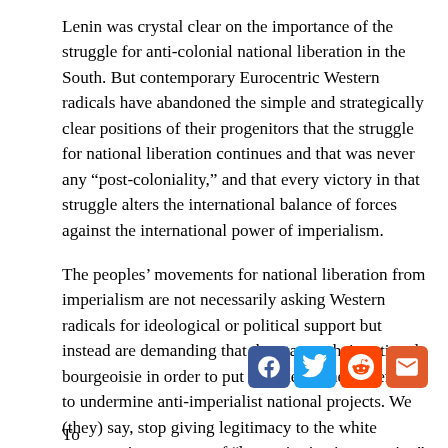Lenin was crystal clear on the importance of the struggle for anti-colonial national liberation in the South. But contemporary Eurocentric Western radicals have abandoned the simple and strategically clear positions of their progenitors that the struggle for national liberation continues and that was never any “post-coloniality,” and that every victory in that struggle alters the international balance of forces against the international power of imperialism.
The peoples’ movements for national liberation from imperialism are not necessarily asking Western radicals for ideological or political support but instead are demanding that they target their national bourgeoisie in order to put a brake on their attempts to undermine anti-imperialist national projects. We (they) say, stop giving legitimacy to the white supremacist concepts of “humanitarian intervention” and the “responsibility to protect.”
To ...